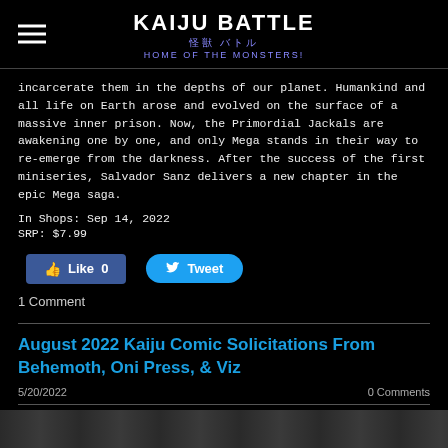Kaiju Battle 怪獣 バトル Home of the Monsters!
incarcerate them in the depths of our planet. Humankind and all life on Earth arose and evolved on the surface of a massive inner prison. Now, the Primordial Jackals are awakening one by one, and only Mega stands in their way to re-emerge from the darkness. After the success of the first miniseries, Salvador Sanz delivers a new chapter in the epic Mega saga.
In Shops: Sep 14, 2022
SRP: $7.99
Like 0   Tweet
1 Comment
August 2022 Kaiju Comic Solicitations From Behemoth, Oni Press, & Viz
5/20/2022   0 Comments
[Figure (photo): Partial image strip at the bottom of the page, showing a dark comic/illustration image]